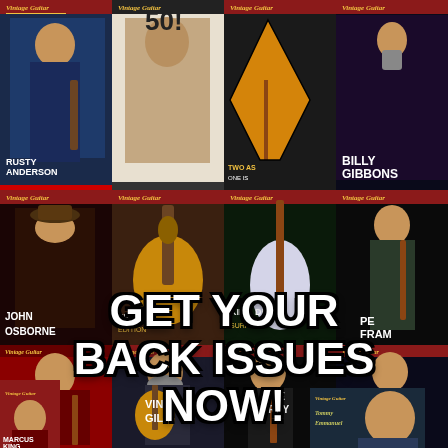[Figure (photo): A collage of multiple Vintage Guitar magazine covers arranged in a grid pattern. Covers feature various artists including Rusty Anderson, Billy Gibbons, John Osborne, King Dick/Surf Axe guitar, Pete Frame, Dan Auerbach (Black Keys Magic), Vince Gill, Joe Perry, Reverend Peyton, Marcus King, Tommy Emmanuel, and others. Magazines are shown from multiple angles overlapping each other, predominantly featuring guitar players and vintage guitars. The Vintage Guitar magazine logo appears on most covers in red/gold script lettering.]
GET YOUR BACK ISSUES NOW!